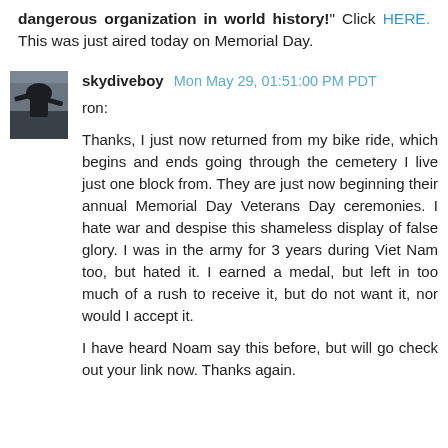dangerous organization in world history!" Click HERE. This was just aired today on Memorial Day.
[Figure (photo): Small avatar photo showing a skydiver or aerial view, grayscale/dark tones]
skydiveboy Mon May 29, 01:51:00 PM PDT
ron:
Thanks, I just now returned from my bike ride, which begins and ends going through the cemetery I live just one block from. They are just now beginning their annual Memorial Day Veterans Day ceremonies. I hate war and despise this shameless display of false glory. I was in the army for 3 years during Viet Nam too, but hated it. I earned a medal, but left in too much of a rush to receive it, but do not want it, nor would I accept it.

I have heard Noam say this before, but will go check out your link now. Thanks again.